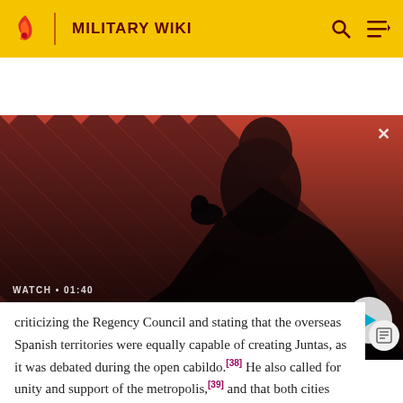MILITARY WIKI
[Figure (screenshot): Video thumbnail showing a dark-cloaked figure with a raven on shoulder against a red and black diagonal striped background. Video title: 'The Sandman Will Keep You Awake - The Loop'. Duration: 01:40.]
criticizing the Regency Council and stating that the overseas Spanish territories were equally capable of creating Juntas, as it was debated during the open cabildo.[38] He also called for unity and support of the metropolis,[39] and that both cities recognize Ferdinand